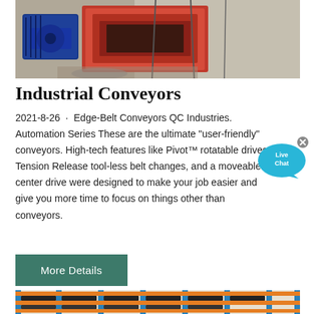[Figure (photo): Industrial machinery with blue electric motor and red crushing/processing equipment on a construction site]
Industrial Conveyors
2021-8-26 · Edge-Belt Conveyors QC Industries. Automation Series These are the ultimate "user-friendly" conveyors. High-tech features like Pivot™ rotatable drives, Tension Release tool-less belt changes, and a moveable center drive were designed to make your job easier and give you more time to focus on things other than conveyors.
[Figure (illustration): Live Chat bubble icon with text Live Chat and an X close button]
[Figure (photo): Warehouse storage shelving system with orange and blue metal racking holding stacked tires and industrial parts]